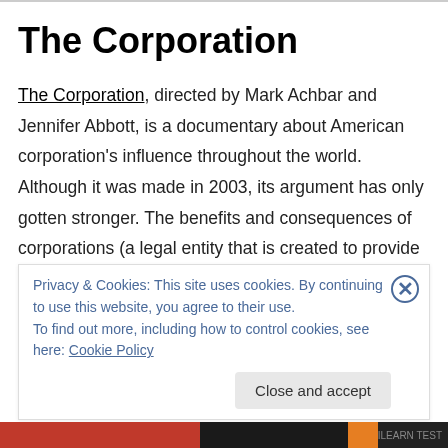The Corporation
The Corporation, directed by Mark Achbar and Jennifer Abbott, is a documentary about American corporation's influence throughout the world. Although it was made in 2003, its argument has only gotten stronger. The benefits and consequences of corporations (a legal entity that is created to provide privileges and liabilities distinctly different from those of its members) are shown to viewers. Ok… so the consequences outnumber the benefits about
Privacy & Cookies: This site uses cookies. By continuing to use this website, you agree to their use.
To find out more, including how to control cookies, see here: Cookie Policy
Close and accept